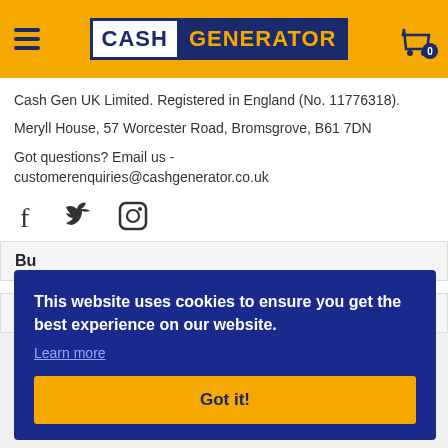Cash Generator
Cash Gen UK Limited. Registered in England (No. 11776318).
Meryll House, 57 Worcester Road, Bromsgrove, B61 7DN
Got questions? Email us - customerenquiries@cashgenerator.co.uk
[Figure (illustration): Social media icons: Facebook, Twitter, Instagram]
Bu
Bu
This website uses cookies to ensure you get the best experience on our website. Learn more
Got it!